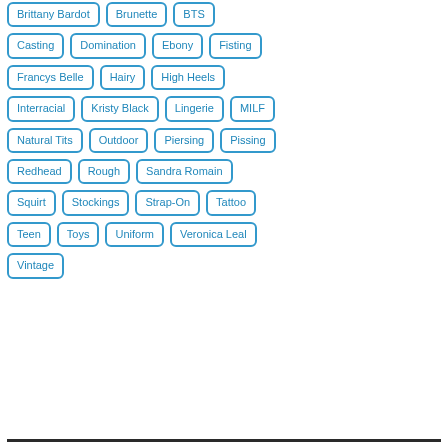Brittany Bardot
Brunette
BTS
Casting
Domination
Ebony
Fisting
Francys Belle
Hairy
High Heels
Interracial
Kristy Black
Lingerie
MILF
Natural Tits
Outdoor
Piersing
Pissing
Redhead
Rough
Sandra Romain
Squirt
Stockings
Strap-On
Tattoo
Teen
Toys
Uniform
Veronica Leal
Vintage